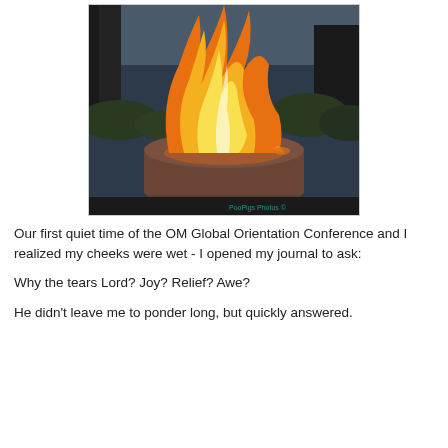[Figure (photo): A large bonfire with bright orange and yellow flames burning in a round stone or concrete fire pit, photographed at dusk near trees and water. Watermark reads 'PooPigs Photos ©' in teal text at bottom right.]
Our first quiet time of the OM Global Orientation Conference and I realized my cheeks were wet - I opened my journal to ask:
Why the tears Lord? Joy? Relief? Awe?
He didn't leave me to ponder long, but quickly answered.